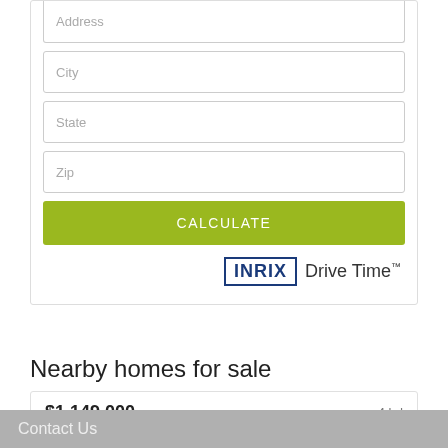Address
City
State
Zip
CALCULATE
[Figure (logo): INRIX Drive Time logo with INRIX in bold dark blue box and Drive Time text with TM superscript]
Nearby homes for sale
$1,149,000  4 bd
Contact Us